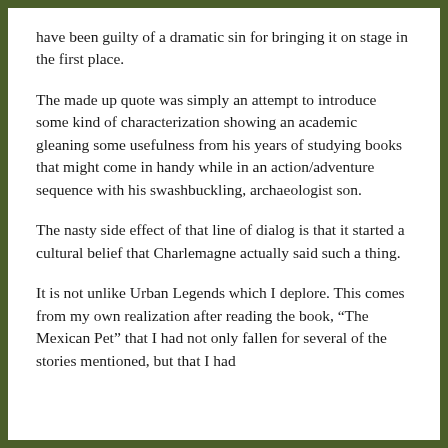have been guilty of a dramatic sin for bringing it on stage in the first place.
The made up quote was simply an attempt to introduce some kind of characterization showing an academic gleaning some usefulness from his years of studying books that might come in handy while in an action/adventure sequence with his swashbuckling, archaeologist son.
The nasty side effect of that line of dialog is that it started a cultural belief that Charlemagne actually said such a thing.
It is not unlike Urban Legends which I deplore. This comes from my own realization after reading the book, “The Mexican Pet” that I had not only fallen for several of the stories mentioned, but that I had